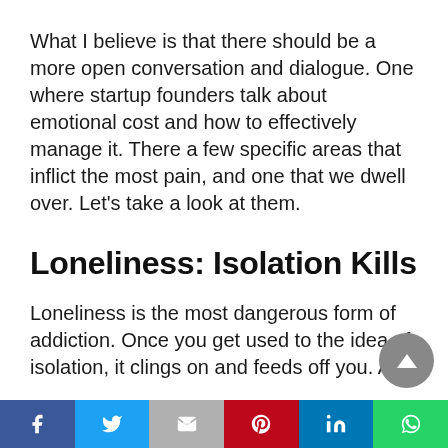What I believe is that there should be a more open conversation and dialogue. One where startup founders talk about emotional cost and how to effectively manage it. There a few specific areas that inflict the most pain, and one that we dwell over. Let's take a look at them.
Loneliness: Isolation Kills
Loneliness is the most dangerous form of addiction. Once you get used to the idea of isolation, it clings on and feeds off you. And